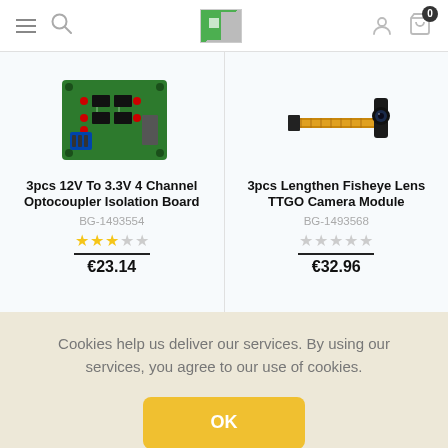Navigation header with menu, search, logo, user icon, and cart (0 items)
[Figure (photo): 3pcs 12V To 3.3V 4 Channel Optocoupler Isolation Board - green PCB with red LED indicators and blue connector]
3pcs 12V To 3.3V 4 Channel Optocoupler Isolation Board
BG-1493554
3 out of 5 stars rating
€23.14
[Figure (photo): 3pcs Lengthen Fisheye Lens TTGO Camera Module - black lens module with flexible flat cable]
3pcs Lengthen Fisheye Lens TTGO Camera Module
BG-1493568
0 out of 5 stars rating
€32.96
Cookies help us deliver our services. By using our services, you agree to our use of cookies.
OK
LEARN MORE